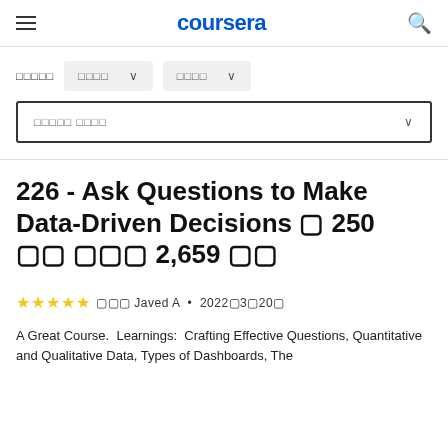coursera
□□□□□  □□□□ ∨  □□□□ ∨
□□□□□ □□□□ ∨
226 - Ask Questions to Make Data-Driven Decisions □ 250 □□ □□□ 2,659 □□
★★★★★ □□□ Javed A • 2022□3□20□
A Great Course.  Learnings:  Crafting Effective Questions, Quantitative and Qualitative Data, Types of Dashboards, The